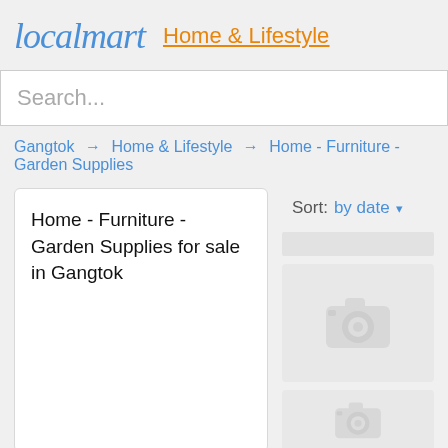localmart  Home & Lifestyle
Search...
Gangtok → Home & Lifestyle → Home - Furniture - Garden Supplies
Home - Furniture - Garden Supplies for sale in Gangtok
Sort: by date ▾
[Figure (photo): Placeholder image card with camera icon, no photo loaded]
[Figure (photo): Second placeholder image card with partial camera icon, no photo loaded]